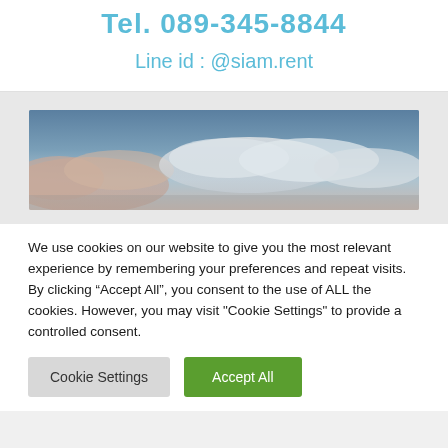Tel. 089-345-8844
Line id : @siam.rent
[Figure (photo): Wide panoramic photo of a cloudy sky with blue tones and warm clouds]
We use cookies on our website to give you the most relevant experience by remembering your preferences and repeat visits. By clicking “Accept All”, you consent to the use of ALL the cookies. However, you may visit "Cookie Settings" to provide a controlled consent.
Cookie Settings | Accept All